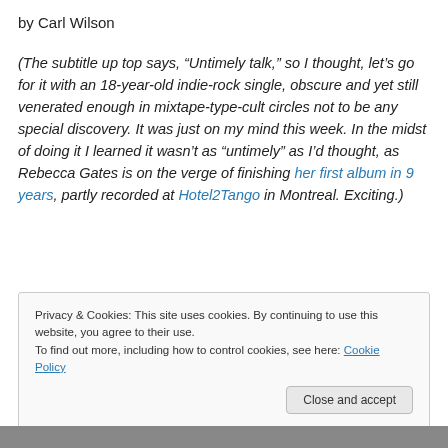by Carl Wilson
(The subtitle up top says, “Untimely talk,” so I thought, let’s go for it with an 18-year-old indie-rock single, obscure and yet still venerated enough in mixtape-type-cult circles not to be any special discovery. It was just on my mind this week. In the midst of doing it I learned it wasn’t as “untimely” as I’d thought, as Rebecca Gates is on the verge of finishing her first album in 9 years, partly recorded at Hotel2Tango in Montreal. Exciting.)
Privacy & Cookies: This site uses cookies. By continuing to use this website, you agree to their use.
To find out more, including how to control cookies, see here: Cookie Policy
Close and accept